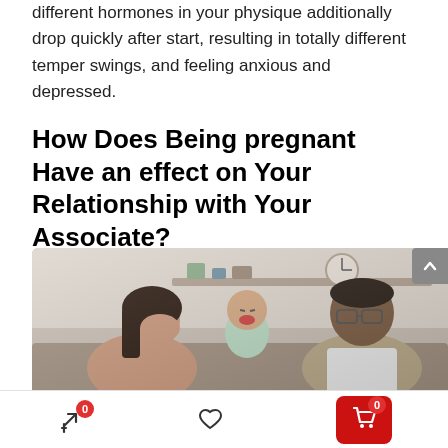different hormones in your physique additionally drop quickly after start, resulting in totally different temper swings, and feeling anxious and depressed.
How Does Being pregnant Have an effect on Your Relationship with Your Associate?
[Figure (photo): A stressed mother with her head in her hand holding a crying baby, with a concerned father wearing glasses looking on, seated in a living room setting.]
Bottom navigation bar with share icon (badge 0), heart/wishlist icon, and cart button (badge 0)